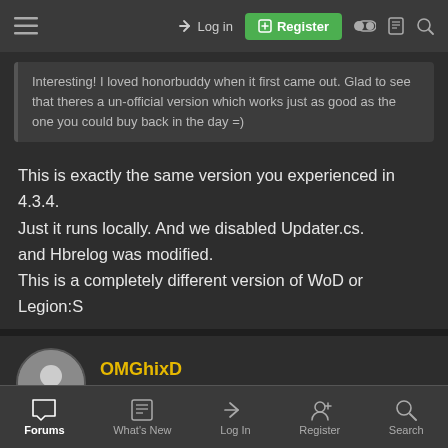Log in | Register
Interesting! I loved honorbuddy when it first came out. Glad to see that theres a un-official version which works just as good as the one you could buy back in the day =)
This is exactly the same version you experienced in 4.3.4. Just it runs locally. And we disabled Updater.cs. and Hbrelog was modified. This is a completely different version of WoD or Legion:S
OMGhixD
Gold Supporter | Gold Supporter | Super User
Sep 19, 2020 #45
Forums | What's New | Log In | Register | Search